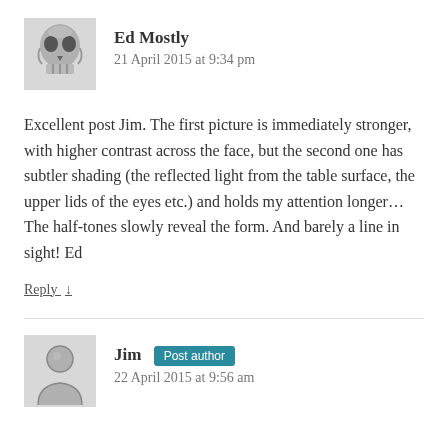[Figure (photo): Grayscale avatar image of a skull]
Ed Mostly
21 April 2015 at 9:34 pm
Excellent post Jim. The first picture is immediately stronger, with higher contrast across the face, but the second one has subtler shading (the reflected light from the table surface, the upper lids of the eyes etc.) and holds my attention longer... The half-tones slowly reveal the form. And barely a line in sight! Ed
Reply ↓
[Figure (illustration): Generic person/user avatar icon in grayscale]
Jim Post author
22 April 2015 at 9:56 am